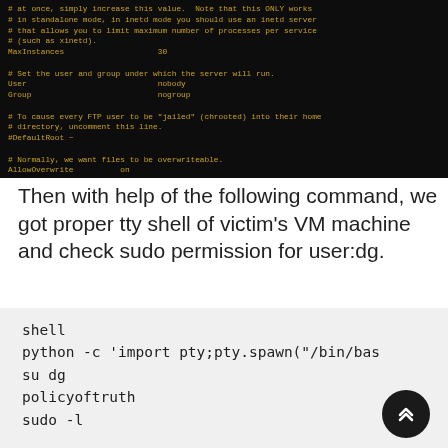[Figure (screenshot): Terminal window showing ProFTPD configuration file content with yellow text on black background. Shows MaxInstances 30, User nobody, Group nogroup, #DefaultRoot ~, AllowOverwrite on settings with comments.]
Then with help of the following command, we got proper tty shell of victim's VM machine and check sudo permission for user:dg.
[Figure (screenshot): Light grey code block showing shell commands: shell, python -c 'import pty;pty.spawn("/bin/bas..., su dg, policyoftruth, sudo -l]